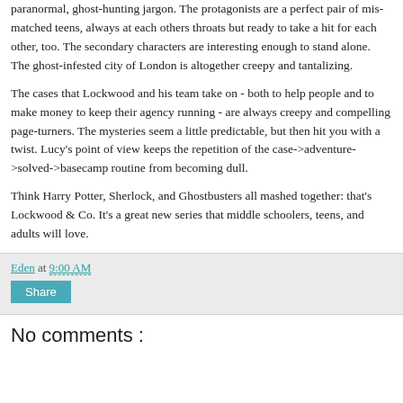paranormal, ghost-hunting jargon. The protagonists are a perfect pair of mis-matched teens, always at each others throats but ready to take a hit for each other, too. The secondary characters are interesting enough to stand alone. The ghost-infested city of London is altogether creepy and tantalizing.
The cases that Lockwood and his team take on - both to help people and to make money to keep their agency running - are always creepy and compelling page-turners. The mysteries seem a little predictable, but then hit you with a twist. Lucy's point of view keeps the repetition of the case->adventure->solved->basecamp routine from becoming dull.
Think Harry Potter, Sherlock, and Ghostbusters all mashed together: that's Lockwood & Co. It's a great new series that middle schoolers, teens, and adults will love.
Eden at 9:00 AM
Share
No comments :